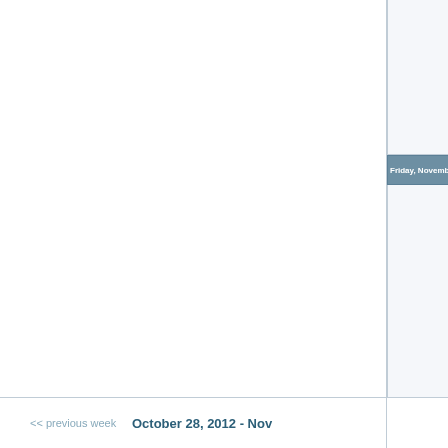Friday, November
Saturday, November
<< previous week
October 28, 2012 - Nov